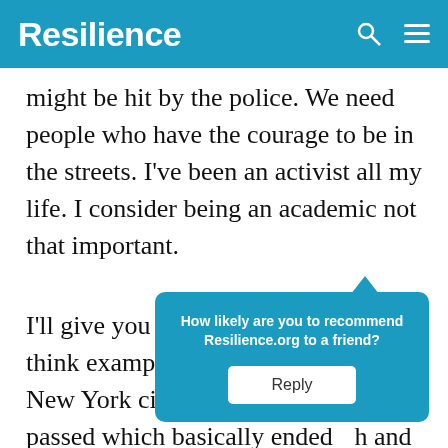Resilience
might be hit by the police.  We need people who have the courage to be in the streets.  I've been an activist all my life.  I consider being an academic not that important.
I'll give you an example because I think examples help.  After 9/11 in New York city the Patriot Act was passed which basically ended [fourth] and fifth a[mendment rights.  Snitow…]
[Figure (screenshot): A popup dialog box with teal background asking 'How likely are you to recommend Resilience.org to a friend?' with a white Reply button]